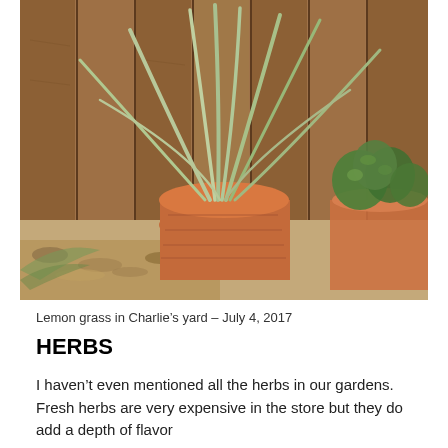[Figure (photo): Lemon grass plant growing in a terracotta pot against a wooden fence, with other green herbs visible to the right. Sandy ground and stones are visible at the base.]
Lemon grass in Charlie’s yard – July 4, 2017
HERBS
I haven’t even mentioned all the herbs in our gardens.  Fresh herbs are very expensive in the store but they do add a depth of flavor